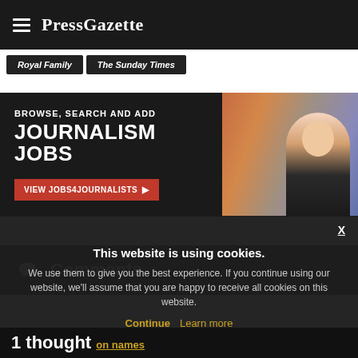PressGazette
Royal Family | The Sunday Times
[Figure (screenshot): Advertisement banner: BROWSE, SEARCH AND ADD JOURNALISM JOBS — VIEW JOBS4JOURNALISTS button, with photo of a woman]
Comments
This website is using cookies. We use them to give you the best experience. If you continue using our website, we'll assume that you are happy to receive all cookies on this website.
Continue  Learn more
1 thought